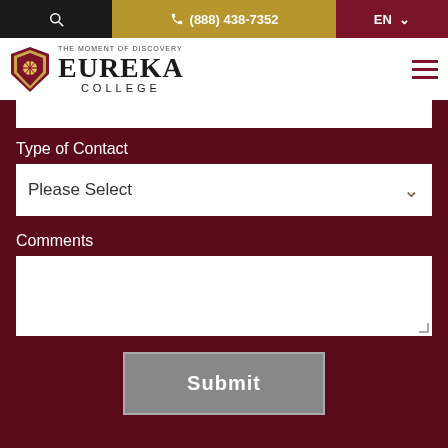🔍  (888) 438-7352  EN
[Figure (logo): Eureka College logo with shield and tagline 'The Moment of Discovery']
Type of Contact
Please Select
Comments
Submit
Resources